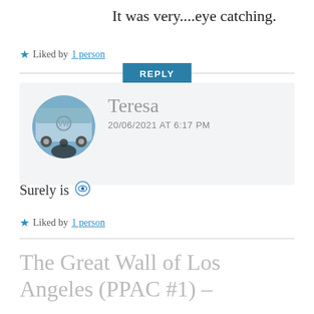It was very....eye catching.
★ Liked by 1 person
REPLY
[Figure (photo): Circular avatar photo of Teresa, standing in front of a colorful VW bus mural]
Teresa
20/06/2021 AT 6:17 PM
Surely is 👁
★ Liked by 1 person
The Great Wall of Los Angeles (PPAC #1) –